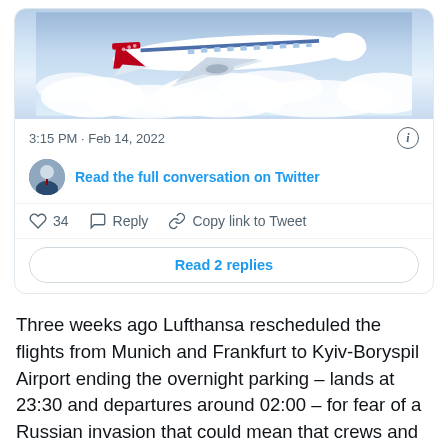[Figure (photo): Photo of a Norwegian Air or similar red-and-white narrow-body aircraft flying above clouds, shown from slightly below and to the side.]
3:15 PM · Feb 14, 2022
Read the full conversation on Twitter
34  Reply  Copy link to Tweet
Read 2 replies
Three weeks ago Lufthansa rescheduled the flights from Munich and Frankfurt to Kyiv-Boryspil Airport ending the overnight parking – lands at 23:30 and departures around 02:00 – for fear of a Russian invasion that could mean that crews and planes could be caught up in any military action.
Repatriation And Extra Flights